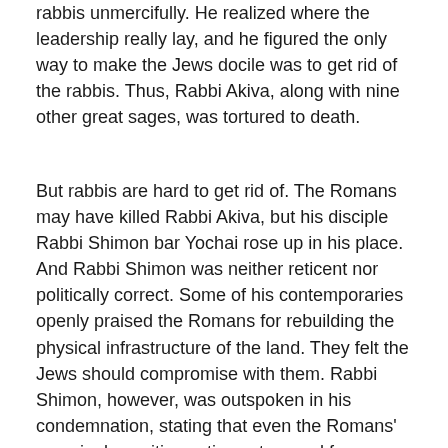rabbis unmercifully. He realized where the leadership really lay, and he figured the only way to make the Jews docile was to get rid of the rabbis. Thus, Rabbi Akiva, along with nine other great sages, was tortured to death.
But rabbis are hard to get rid of. The Romans may have killed Rabbi Akiva, but his disciple Rabbi Shimon bar Yochai rose up in his place. And Rabbi Shimon was neither reticent nor politically correct. Some of his contemporaries openly praised the Romans for rebuilding the physical infrastructure of the land. They felt the Jews should compromise with them. Rabbi Shimon, however, was outspoken in his condemnation, stating that even the Romans' seemingly positive actions stemmed from sinister motives. Then, a Jewish spy working for the Roman government reported Rabbi Shimon bar Yochai's words to the Roman authorities, and a warrant for his arrest was issued. Rabbi Shimon, together with his son Elazar, fled to the desert and found